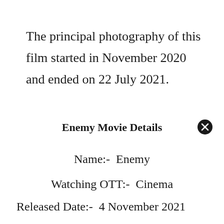The principal photography of this film started in November 2020 and ended on 22 July 2021.
Enemy Movie Details
Name:-  Enemy
Watching OTT:-  Cinema
Released Date:-  4 November 2021